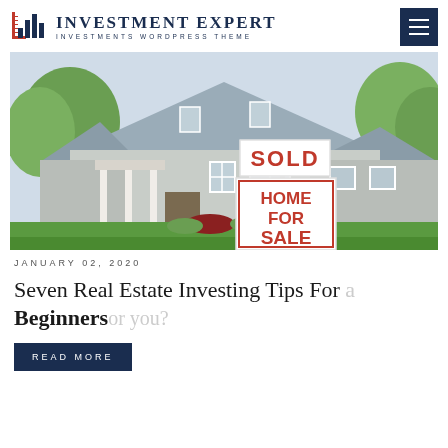Investment Expert — Investments WordPress Theme
[Figure (photo): Photo of a suburban house with a white real estate sign reading 'SOLD' on top and 'HOME FOR SALE' below, in red text on white background. Green lawn and trees visible.]
JANUARY 02, 2020
Seven Real Estate Investing Tips For a Beginners
READ MORE